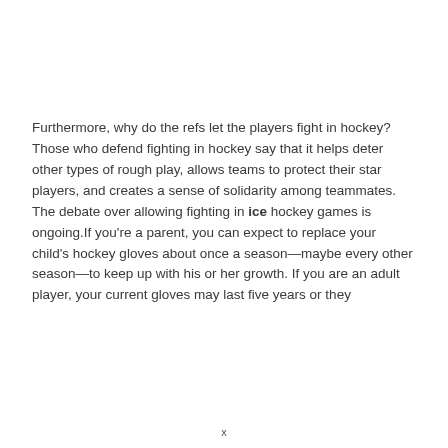Furthermore, why do the refs let the players fight in hockey? Those who defend fighting in hockey say that it helps deter other types of rough play, allows teams to protect their star players, and creates a sense of solidarity among teammates. The debate over allowing fighting in ice hockey games is ongoing.If you're a parent, you can expect to replace your child's hockey gloves about once a season—maybe every other season—to keep up with his or her growth. If you are an adult player, your current gloves may last five years or they
x